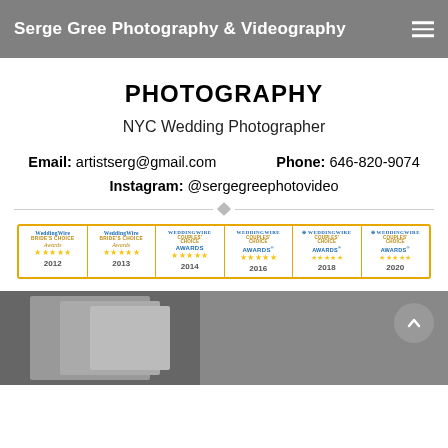Serge Gree Photography & Videography
PHOTOGRAPHY
NYC Wedding Photographer
Email: artistserg@gmail.com   Phone: 646-820-9074
Instagram: @sergegreephotovideo
[Figure (other): WeddingWire awards strip showing Bride's Choice Awards 2012, 2013 and Couples' Choice Awards 2014, 2016, 2018, 2020 with five-star ratings]
[Figure (photo): Partial view of wedding photographs]